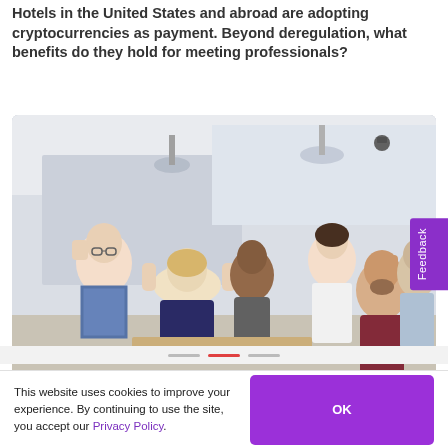Hotels in the United States and abroad are adopting cryptocurrencies as payment. Beyond deregulation, what benefits do they hold for meeting professionals?
[Figure (photo): A group of diverse professionals celebrating together in a bright office or meeting space, laughing and raising fists in a gesture of success.]
Feedback
This website uses cookies to improve your experience. By continuing to use the site, you accept our Privacy Policy.